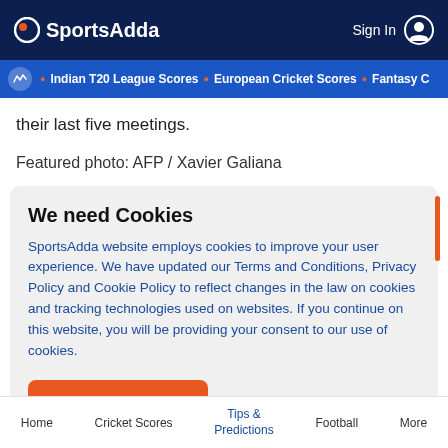SportsAdda  Sign In
Indian T20 League Scores • European Cricket Scores • Fantasy C
their last five meetings.
Featured photo: AFP / Xavier Galiana
We need Cookies
SportsAdda website employs cookies to improve your user experience. We have updated our Terms and Conditions, Privacy Policy and Cookie Policy to reflect changes in the law on cookies and tracking technologies used on websites. If you continue on this website, you will be providing your consent to our use of cookies.
Agree
Home  Cricket Scores  Tips & Predictions  Football  More